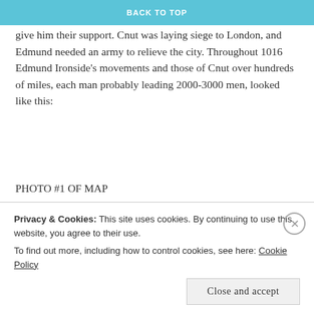BACK TO TOP
Cnut's fleet arrived. He led his retainers deep into Wessex where he cajoled or coerced the West Saxons to give him their support. Cnut was laying siege to London, and Edmund needed an army to relieve the city. Throughout 1016 Edmund Ironside's movements and those of Cnut over hundreds of miles, each man probably leading 2000-3000 men, looked like this:
PHOTO #1 OF MAP
[Figure (map): Map titled '4. The Danish Conquest 1015-1016' showing Cnut's movements across England. Legend shows: Dec 1015 - March 1016 (arrow), April - July 1016 (arrow), July-Oct 1016 (pink dashed arrow), Danish siege of London May-July 1016 (pink dot). Map shows English Channel, Chester area marked as 'early 1016 ravaged by Edmund and Uhtred', a point labeled 'spring 1016 Cnut returns to fleet', and 'Cnut takes control of Northumbria' in the north.]
Privacy & Cookies: This site uses cookies. By continuing to use this website, you agree to their use.
To find out more, including how to control cookies, see here: Cookie Policy
Close and accept